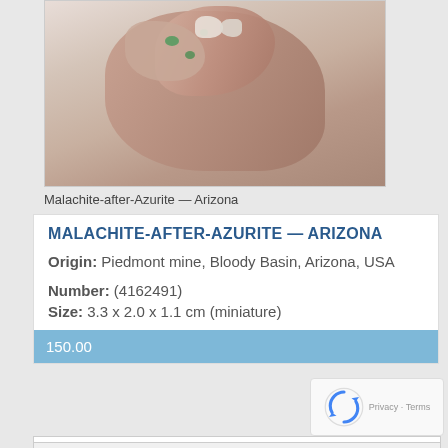[Figure (photo): Malachite-after-Azurite mineral specimen from Arizona, showing pink-tan rocky mineral clusters, partially cropped at top]
Malachite-after-Azurite — Arizona
MALACHITE-AFTER-AZURITE — ARIZONA
Origin: Piedmont mine, Bloody Basin, Arizona, USA
Number: (4162491)
Size: 3.3 x 2.0 x 1.1 cm (miniature)
150.00
[Figure (photo): Green malachite crystal cluster with blue azurite accents on a grey background, partially cropped at bottom of page]